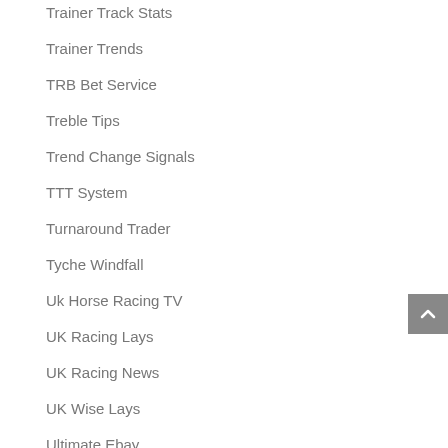Trainer Track Stats
Trainer Trends
TRB Bet Service
Treble Tips
Trend Change Signals
TTT System
Turnaround Trader
Tyche Windfall
Uk Horse Racing TV
UK Racing Lays
UK Racing News
UK Wise Lays
Ultimate Ebay
Ultimate Horse Power